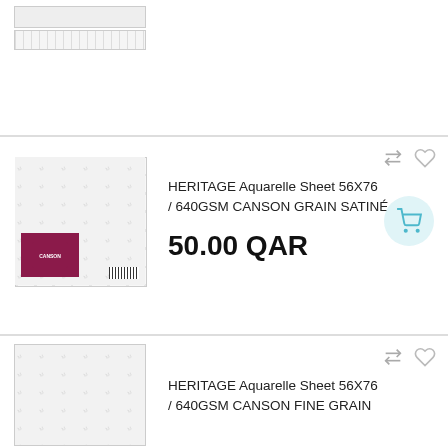[Figure (photo): Partial product image of an art paper sheet (top portion cut off), shown at top of page]
[Figure (photo): Canson Heritage Aquarelle watercolor paper sheet product image, white paper with repeated logo pattern and dark red/maroon label in lower left corner, barcode visible]
HERITAGE Aquarelle Sheet 56X76 / 640GSM CANSON GRAIN SATINÉ
50.00 QAR
[Figure (photo): Partial product image of Canson Heritage Aquarelle paper sheet (bottom portion of page), beginning of another product listing]
HERITAGE Aquarelle Sheet 56X76 / 640GSM CANSON FINE GRAIN